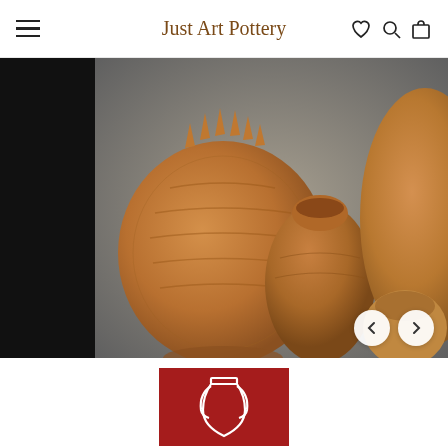Just Art Pottery
[Figure (photo): Website screenshot of Just Art Pottery showing a header with hamburger menu, site title 'Just Art Pottery', and icons, plus a hero image of brown ceramic pottery vases on a gray background with a black panel on the left, navigation arrows, and a red promotional box with a white pottery icon at the bottom.]